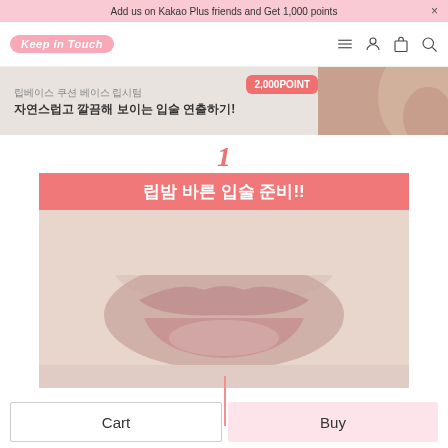Add us on Kakao Plus friends and Get 1,000 points ×
[Figure (logo): Keep in Touch brand logo in pink ribbon style]
[Figure (photo): Korean beauty website banner with model photo, text in Korean: lip base preparation line and Korean text, 2,000POINT badge]
1
립밤 바른 입술 준비!!
[Figure (photo): Close-up photo of lips with lip balm applied, pink indicator line pointing down, EI TALK badge in bottom right]
Cart
Buy